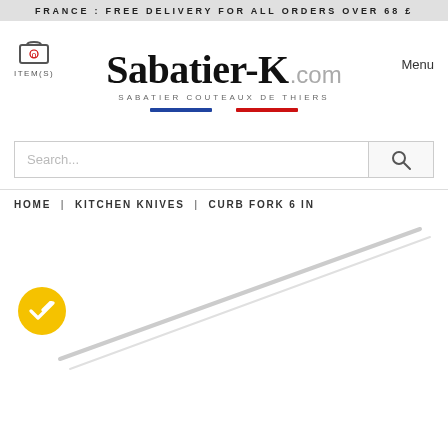FRANCE : FREE DELIVERY FOR ALL ORDERS OVER 68 £
[Figure (logo): Sabatier-K.com logo with shopping cart icon and Menu button. Subtitle: SABATIER COUTEAUX DE THIERS with French flag decoration (blue and red lines).]
Search...
HOME | KITCHEN KNIVES | CURB FORK 6 IN
[Figure (photo): Partial product image showing a kitchen fork (curb fork 6 in) with a yellow checkmark badge in the bottom-left corner.]